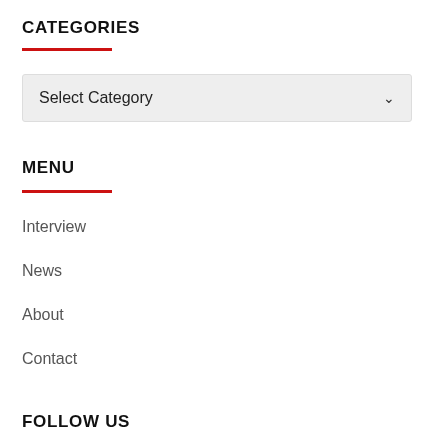CATEGORIES
[Figure (screenshot): A dropdown select box labeled 'Select Category' with a chevron/arrow icon on the right, on a light gray background.]
MENU
Interview
News
About
Contact
FOLLOW US